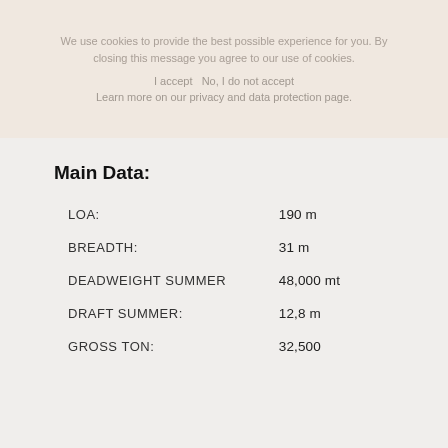We use cookies to provide the best possible experience for you. By closing this message you agree to our use of cookies.
I accept  No, I do not accept
Learn more on our privacy and data protection page.
Main Data:
|  |  |
| --- | --- |
| LOA: | 190 m |
| BREADTH: | 31 m |
| DEADWEIGHT SUMMER | 48,000 mt |
| DRAFT SUMMER: | 12,8 m |
| GROSS TON: | 32,500 |